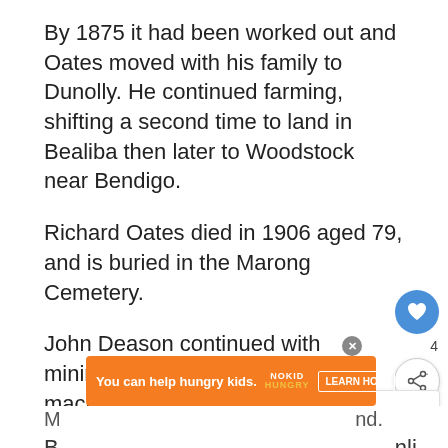By 1875 it had been worked out and Oates moved with his family to Dunolly. He continued farming, shifting a second time to land in Bealiba then later to Woodstock near Bendigo.
Richard Oates died in 1906 aged 79, and is buried in the Marong Cemetery.
John Deason continued with mining, having various puddling machines and later a quartz crushing battery.
During the depression of the 1890's, his livelihood came from operating the battery in M...